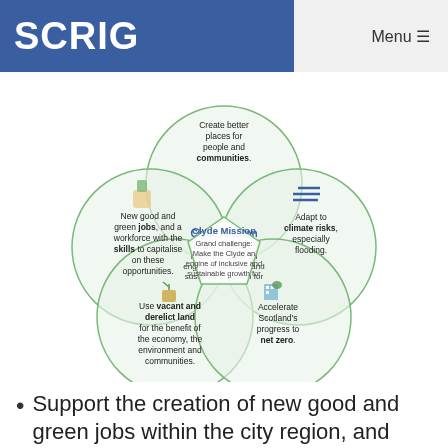SCRIG   Menu
[Figure (infographic): Clyde Mission infographic showing five overlapping circles (Venn-style) arranged around a central pentagon. The five themes are: (top) Create better places for people and communities; (left) New good and green jobs, and a workforce with the skills to capitalise on these opportunities; (right) Adapt to climate risks, especially flooding; (bottom-left) Use vacant and derelict land for the benefit of the economy, the environment and communities; (bottom-right) Accelerate Scotland's progress to net zero. The central pentagon reads 'Clyde Mission: Grand challenge: Make the Clyde an engine of inclusive and sustainable growth for the city, the region and for Scotland.']
Support the creation of new good and green jobs within the city region, and